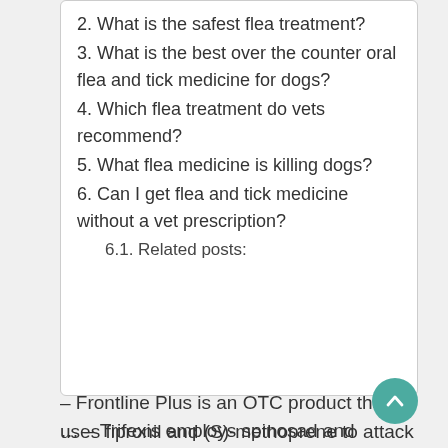2. What is the safest flea treatment?
3. What is the best over the counter oral flea and tick medicine for dogs?
4. Which flea treatment do vets recommend?
5. What flea medicine is killing dogs?
6. Can I get flea and tick medicine without a vet prescription?
6.1. Related posts:
– Frontline Plus is an OTC product that uses fipronil and (S)-methoprene to attack fleas and ticks at every life stag…
… – Trifexis employs spinosad and